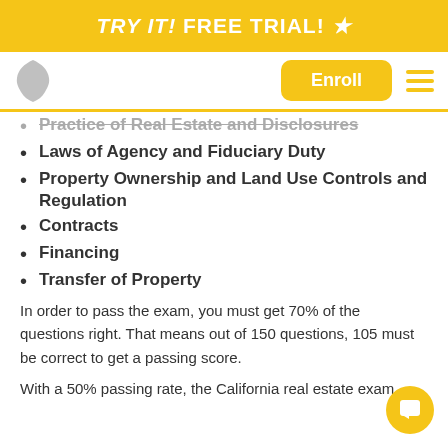TRY IT! FREE TRIAL! ★
[Figure (logo): Navigation bar with California state icon, Enroll button, and hamburger menu]
Practice of Real Estate and Disclosures
Laws of Agency and Fiduciary Duty
Property Ownership and Land Use Controls and Regulation
Contracts
Financing
Transfer of Property
In order to pass the exam, you must get 70% of the questions right. That means out of 150 questions, 105 must be correct to get a passing score.
With a 50% passing rate, the California real estate exam